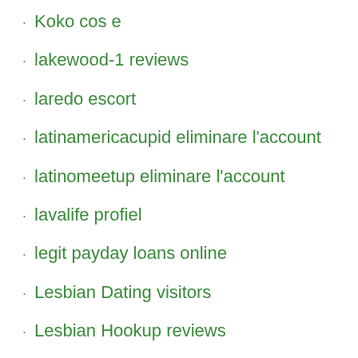Koko cos e
lakewood-1 reviews
laredo escort
latinamericacupid eliminare l'account
latinomeetup eliminare l'account
lavalife profiel
legit payday loans online
Lesbian Dating visitors
Lesbian Hookup reviews
lgbt-chat-rooms review
Little Armenia seite
Little People Meet or Related Site